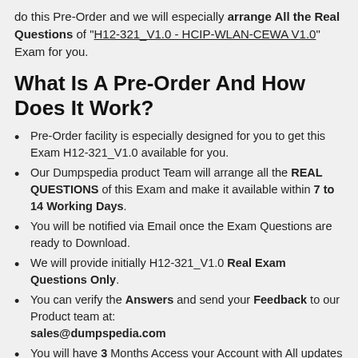do this Pre-Order and we will especially arrange All the Real Questions of "H12-321_V1.0 - HCIP-WLAN-CEWA V1.0" Exam for you.
What Is A Pre-Order And How Does It Work?
Pre-Order facility is especially designed for you to get this Exam H12-321_V1.0 available for you.
Our Dumpspedia product Team will arrange all the REAL QUESTIONS of this Exam and make it available within 7 to 14 Working Days.
You will be notified via Email once the Exam Questions are ready to Download.
We will provide initially H12-321_V1.0 Real Exam Questions Only.
You can verify the Answers and send your Feedback to our Product team at: sales@dumpspedia.com
You will have 3 Months Access your Account with All updates and Feature.
Pre-Order Price will include Only REAL...